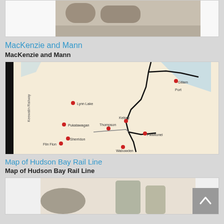[Figure (photo): Partial view of a black and white historical photograph at top of page, cropped.]
MacKenzie and Mann
MacKenzie and Mann
[Figure (map): Map of Hudson Bay Rail Line showing railway routes in northern Manitoba/Canada. Red dots mark stations including Lynn Lake, Pukatawagan, The Pas, Sherridon, Thicket Portage, Pikwitonei, Gillam, and Wabowden. A vertical line labeled 'Keewatin Railway' runs along the left side.]
Map of Hudson Bay Rail Line
Map of Hudson Bay Rail Line
[Figure (photo): Partial view of a black and white historical photograph at bottom of page, showing trees and a structure.]